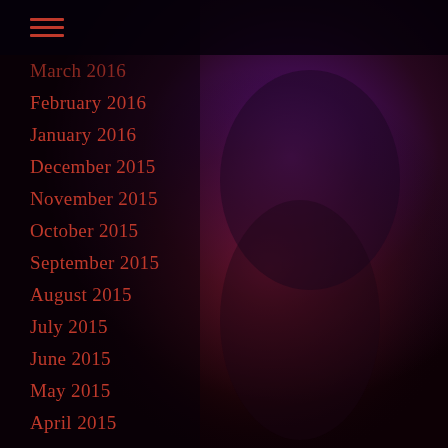[Figure (photo): Background photo of a young Black woman in a fur vest and red top, posed against a purple/magenta dramatic light background, with her hand raised to her head.]
☰
March 2016 (partially visible)
February 2016
January 2016
December 2015
November 2015
October 2015
September 2015
August 2015
July 2015
June 2015
May 2015
April 2015
March 2015
February 2015
January 2015
December 2014
November 2014 (partially visible)